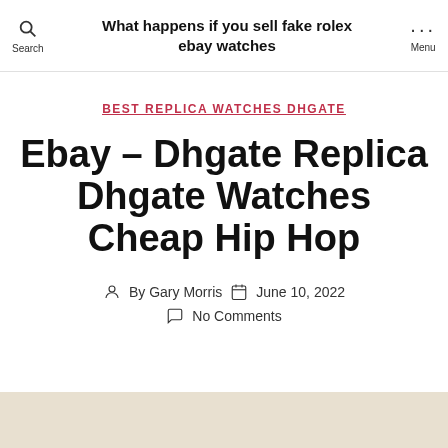What happens if you sell fake rolex ebay watches
BEST REPLICA WATCHES DHGATE
Ebay – Dhgate Replica Dhgate Watches Cheap Hip Hop
By Gary Morris   June 10, 2022   No Comments